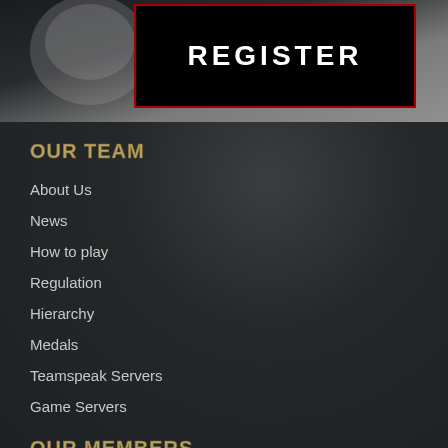[Figure (photo): Top strip with a background image (appears to be a person/soldier) and a prominent black REGISTER button with red border]
OUR TEAM
About Us
News
How to play
Regulation
Hierarchy
Medals
Teamspeak Servers
Game Servers
OUR MEMBERS
Join B.I.A.
Team Members